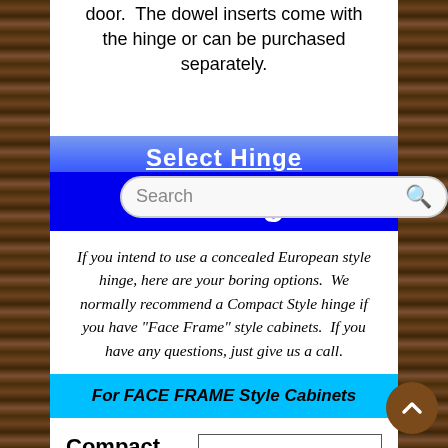door.  The dowel inserts come with the hinge or can be purchased separately.
Select Hinge Boring
If you intend to use a concealed European style hinge, here are your boring options.  We normally recommend a Compact Style hinge if you have "Face Frame" style cabinets.  If you have any questions, just give us a call.
For FACE FRAME Style Cabinets
Compact Style Hinge
"A" Boring For Compact Style